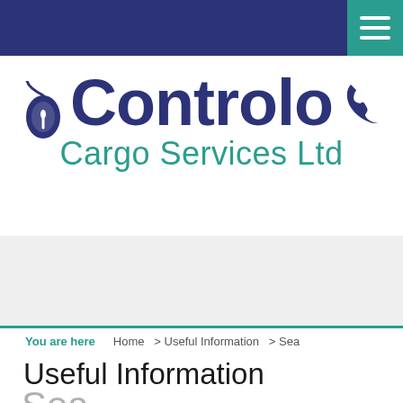[Figure (logo): Controlo Cargo Services Ltd logo with navy 'Controlo' text and teal 'Cargo Services Ltd' text, mouse icon on left and phone icon on right]
You are here   Home  > Useful Information  > Sea
Useful Information
Sea